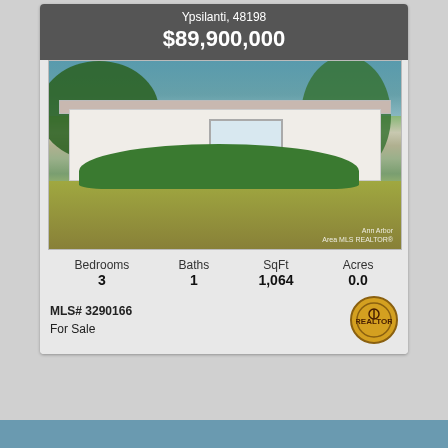Ypsilanti, 48198
$89,900,000
[Figure (photo): Exterior photo of a single-story ranch-style brick and white siding home with green shrubbery in front and large trees in the background, green lawn in foreground.]
Bedrooms 3   Baths 1   SqFt 1,064   Acres 0.0
MLS# 3290166
For Sale